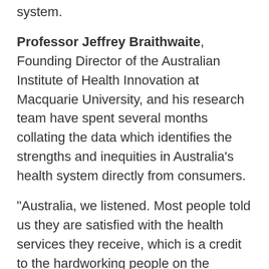system.
Professor Jeffrey Braithwaite, Founding Director of the Australian Institute of Health Innovation at Macquarie University, and his research team have spent several months collating the data which identifies the strengths and inequities in Australia's health system directly from consumers.
“Australia, we listened. Most people told us they are satisfied with the health services they receive, which is a credit to the hardworking people on the frontlines of care, but we also heard that the system is not helping those that need it most,” Professor Braithwaite said.
“Many Australians are struggling to access or afford healthcare, with 24% reporting that they did not fill a prescription or omitted doses of medicine. Clever use of digital health technology such as telehealth and better